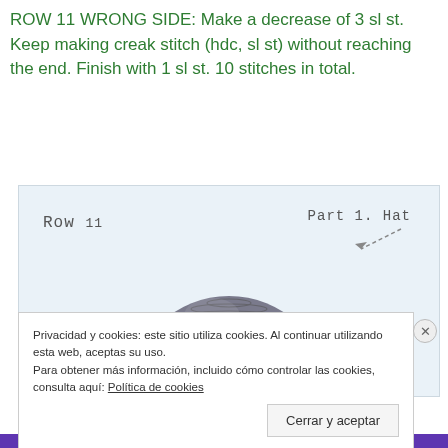ROW 11 WRONG SIDE: Make a decrease of 3 sl st. Keep making creak stitch (hdc, sl st) without reaching the end. Finish with 1 sl st. 10 stitches in total.
[Figure (photo): Photo of a crocheted hat (grey, dome-shaped) on a light blue background. Handwritten labels: 'ROW 11' on the left and 'PART 1. HAT' on the right with a dashed arrow pointing to the hat.]
Privacidad y cookies: este sitio utiliza cookies. Al continuar utilizando esta web, aceptas su uso.
Para obtener más información, incluido cómo controlar las cookies, consulta aquí: Política de cookies
Cerrar y aceptar